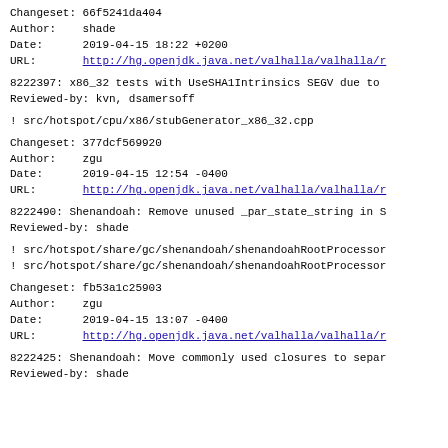Changeset: 66f5241da404
Author:    shade
Date:      2019-04-15 18:22 +0200
URL:       http://hg.openjdk.java.net/valhalla/valhalla/r
8222397: x86_32 tests with UseSHA1Intrinsics SEGV due to
Reviewed-by: kvn, dsamersoff
! src/hotspot/cpu/x86/stubGenerator_x86_32.cpp
Changeset: 377dcf569920
Author:    zgu
Date:      2019-04-15 12:54 -0400
URL:       http://hg.openjdk.java.net/valhalla/valhalla/r
8222490: Shenandoah: Remove unused _par_state_string in S
Reviewed-by: shade
! src/hotspot/share/gc/shenandoah/shenandoahRootProcessor
! src/hotspot/share/gc/shenandoah/shenandoahRootProcessor
Changeset: fb53a1c25903
Author:    zgu
Date:      2019-04-15 13:07 -0400
URL:       http://hg.openjdk.java.net/valhalla/valhalla/r
8222425: Shenandoah: Move commonly used closures to separ
Reviewed-by: shade